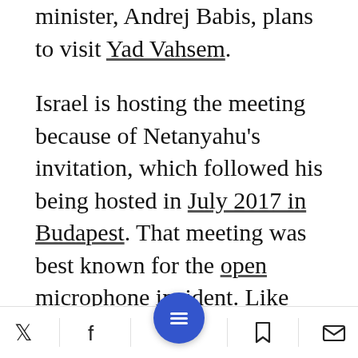minister, Andrej Babis, plans to visit Yad Vahsem.
Israel is hosting the meeting because of Netanyahu's invitation, which followed his being hosted in July 2017 in Budapest. That meeting was best known for the open microphone incident. Like with so many other incidents involving Netanyahu, it is still not completely clear whether or not this was deliberate. Either way, Netanyahu could be heard sharply assailing the European Union during a closed meeting held with the Visegrad Group leaders. "The [E...] the only
Social share and menu bar with Twitter, Facebook, menu, bookmark, and email icons